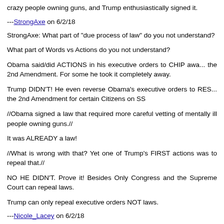crazy people owning guns, and Trump enthusiastically signed it.
---StrongAxe on 6/2/18
StrongAxe: What part of "due process of law" do you not understand?
What part of Words vs Actions do you not understand?
Obama said/did ACTIONS in his executive orders to CHIP away the 2nd Amendment. For some he took it completely away.
Trump DIDN'T! He even reverse Obama's executive orders to RESTORE the 2nd Amendment for certain Citizens on SS
//Obama signed a law that required more careful vetting of mentally ill people owning guns.//
It was ALREADY a law!
//What is wrong with that? Yet one of Trump's FIRST actions was to repeal that.//
NO HE DIDN'T. Prove it! Besides Only Congress and the Supreme Court can repeal laws.
Trump can only repeal executive orders NOT laws.
---Nicole_Lacey on 6/2/18